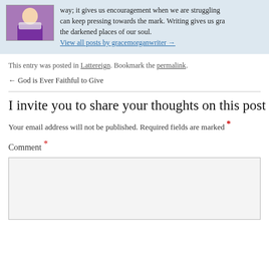[Figure (photo): Author photo showing a person in a purple jacket, partially visible in a light blue author bio box]
way; it gives us encouragement when we are struggling... can keep pressing towards the mark. Writing gives us gra... the darkened places of our soul.
View all posts by gracemorganwriter →
This entry was posted in Lattereign. Bookmark the permalink.
← God is Ever Faithful to Give
I invite you to share your thoughts on this post
Your email address will not be published. Required fields are marked *
Comment *